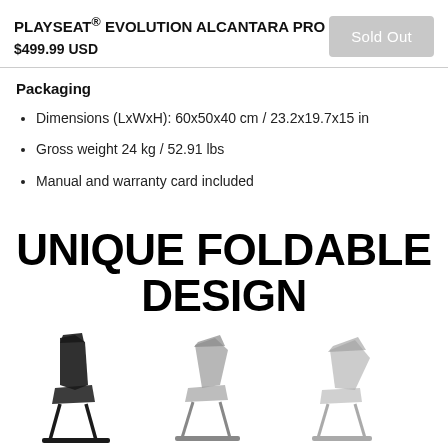PLAYSEAT® EVOLUTION ALCANTARA PRO
$499.99 USD
Sold Out
Packaging
Dimensions (LxWxH): 60x50x40 cm / 23.2x19.7x15 in
Gross weight 24 kg / 52.91 lbs
Manual and warranty card included
UNIQUE FOLDABLE DESIGN
[Figure (photo): Three gaming chairs shown in different folded/unfolded positions from left to right, demonstrating the foldable design feature. Chairs appear black/dark colored against white background.]